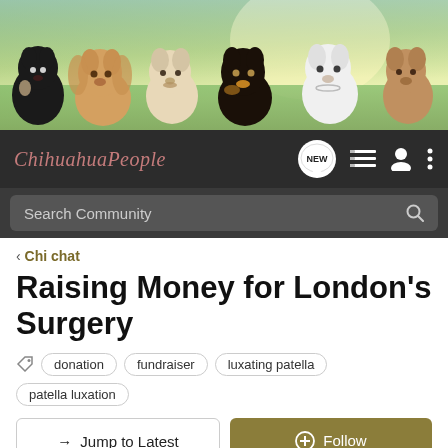[Figure (photo): Banner photo showing six chihuahua dogs lined up in front of a green outdoor background with sunlight.]
ChihuahuaPeople
Search Community
< Chi chat
Raising Money for London's Surgery
donation  fundraiser  luxating patella  patella luxation
→ Jump to Latest   + Follow
1 - 5 of 5 Posts